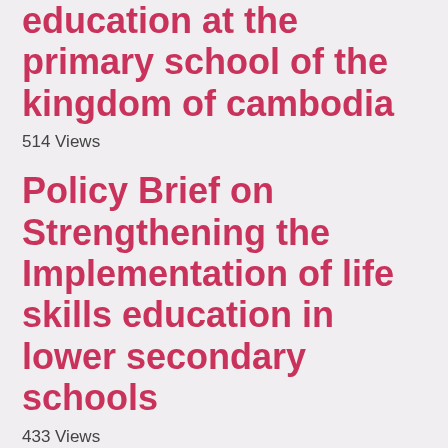education at the primary school of the kingdom of cambodia
514 Views
Policy Brief on Strengthening the Implementation of life skills education in lower secondary schools
433 Views
Policy Brief on Increasing Completion Rates